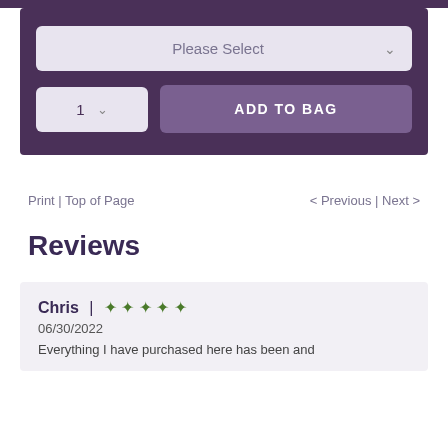[Figure (screenshot): E-commerce product page UI showing a purple panel with a 'Please Select' dropdown and a quantity selector with 'ADD TO BAG' button]
Print | Top of Page     < Previous | Next >
Reviews
Chris | ♦♦♦♦♦
06/30/2022
Everything I have purchased here has been and